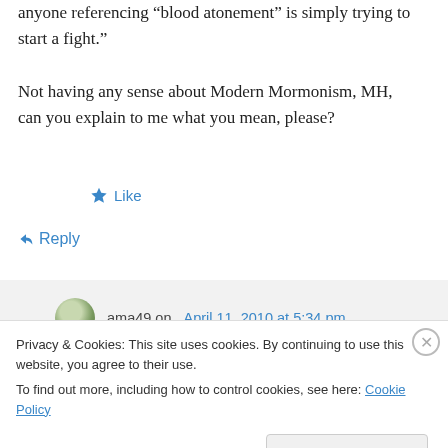anyone referencing “blood atonement” is simply trying to start a fight.”

Not having any sense about Modern Mormonism, MH, can you explain to me what you mean, please?
★ Like
↳ Reply
ama49 on April 11, 2010 at 5:34 pm
Privacy & Cookies: This site uses cookies. By continuing to use this website, you agree to their use.
To find out more, including how to control cookies, see here: Cookie Policy